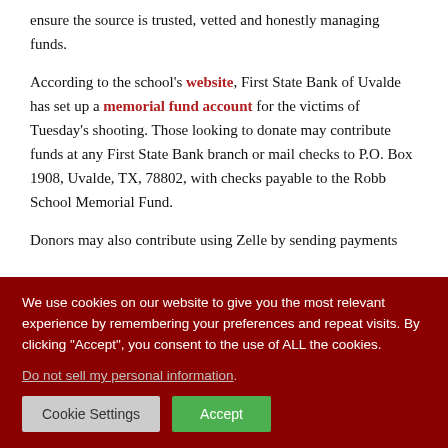ensure the source is trusted, vetted and honestly managing funds.
According to the school's website, First State Bank of Uvalde has set up a memorial fund account for the victims of Tuesday's shooting. Those looking to donate may contribute funds at any First State Bank branch or mail checks to P.O. Box 1908, Uvalde, TX, 78802, with checks payable to the Robb School Memorial Fund.
Donors may also contribute using Zelle by sending payments...
We use cookies on our website to give you the most relevant experience by remembering your preferences and repeat visits. By clicking “Accept”, you consent to the use of ALL the cookies.
Do not sell my personal information.